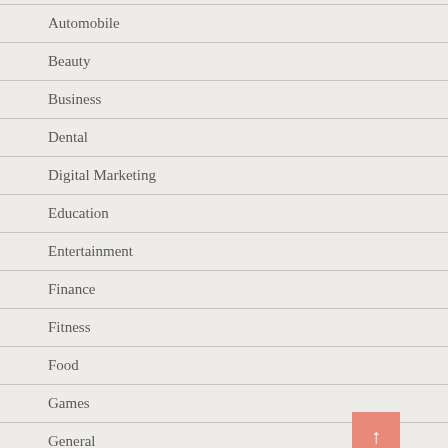Automobile
Beauty
Business
Dental
Digital Marketing
Education
Entertainment
Finance
Fitness
Food
Games
General
Health